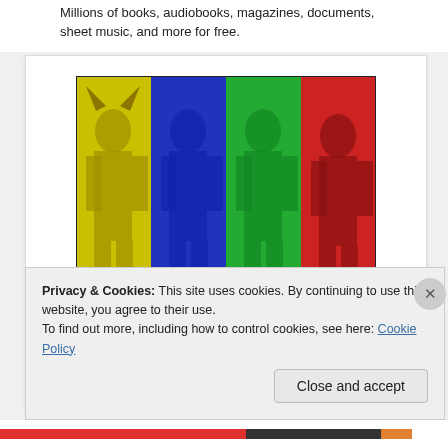Millions of books, audiobooks, magazines, documents, sheet music, and more for free.
[Figure (photo): A pop-art style composite photo split into four color panels (yellow, blue, green, red) showing a person in a costume. Text at bottom reads 'wereverse universe'.]
Saturday, July 31, 2021
Privacy & Cookies: This site uses cookies. By continuing to use this website, you agree to their use.
To find out more, including how to control cookies, see here: Cookie Policy
Close and accept